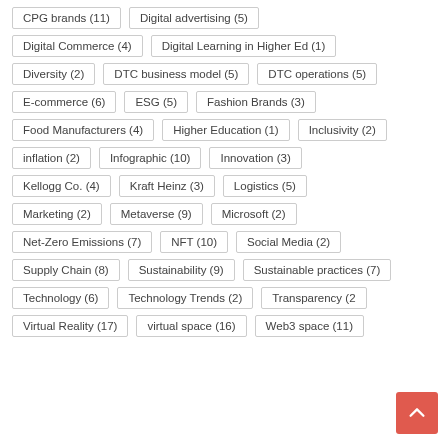CPG brands (11)
Digital advertising (5)
Digital Commerce (4)
Digital Learning in Higher Ed (1)
Diversity (2)
DTC business model (5)
DTC operations (5)
E-commerce (6)
ESG (5)
Fashion Brands (3)
Food Manufacturers (4)
Higher Education (1)
Inclusivity (2)
inflation (2)
Infographic (10)
Innovation (3)
Kellogg Co. (4)
Kraft Heinz (3)
Logistics (5)
Marketing (2)
Metaverse (9)
Microsoft (2)
Net-Zero Emissions (7)
NFT (10)
Social Media (2)
Supply Chain (8)
Sustainability (9)
Sustainable practices (7)
Technology (6)
Technology Trends (2)
Transparency (2)
Virtual Reality (17)
virtual space (16)
Web3 space (11)